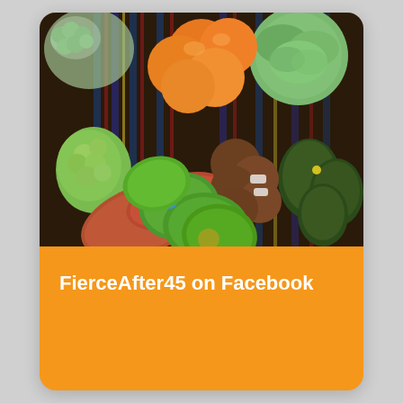[Figure (photo): A colorful assortment of fresh fruits and vegetables including oranges, mangoes, avocados, kiwis, grapes, cabbage, broccoli, and sweet potatoes arranged on a striped cloth.]
FierceAfter45 on Facebook